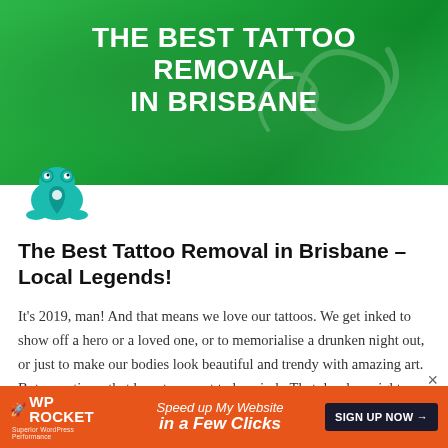[Figure (illustration): Green hero banner with white bold text reading THE BEST TATTOO REMOVAL IN BRISBANE, with decorative tattoo swirl overlay]
THE BEST TATTOO REMOVAL IN BRISBANE
[Figure (logo): Teal/cyan frog icon with location pin design]
The Best Tattoo Removal in Brisbane – Local Legends!
It's 2019, man! And that means we love our tattoos. We get inked to show off a hero or a loved one, or to memorialise a drunken night out, or just to make our bodies look beautiful and trendy with amazing art. But sometimes that hero turns out to be a jerk. That drunken night results in a tattoo
[Figure (infographic): WP Rocket advertisement banner with orange background. Shows WP ROCKET logo on left, tagline 'Speed up My Website in a Few Clicks' in center, and dark SIGN UP NOW button with arrow on right.]